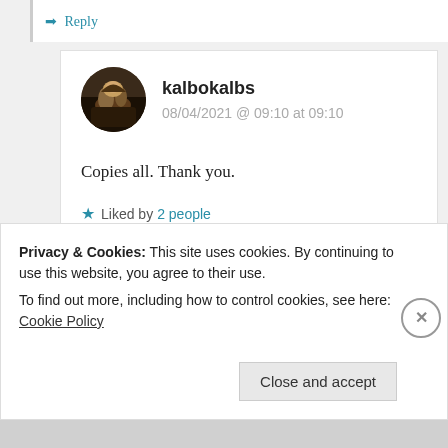↪ Reply
kalbokalbs
08/04/2021 @ 09:10 at 09:10
Copies all. Thank you.
★ Liked by 2 people
↪ Reply
Privacy & Cookies: This site uses cookies. By continuing to use this website, you agree to their use.
To find out more, including how to control cookies, see here: Cookie Policy
Close and accept